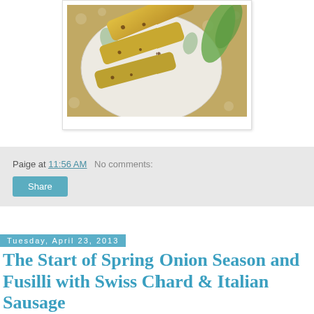[Figure (photo): Photo of biscotti cookies on a decorative plate with floral tablecloth background]
Paige at 11:56 AM   No comments:
Share
Tuesday, April 23, 2013
The Start of Spring Onion Season and Fusilli with Swiss Chard & Italian Sausage